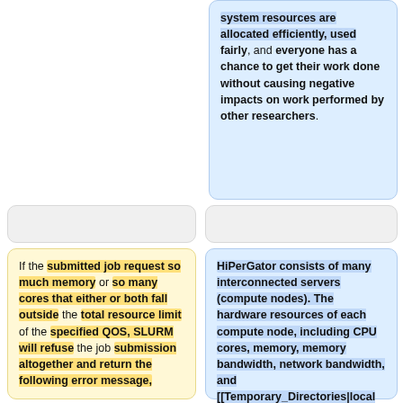system resources are allocated efficiently, used fairly, and everyone has a chance to get their work done without causing negative impacts on work performed by other researchers.
If the submitted job request so much memory or so many cores that either or both fall outside the total resource limit of the specified QOS, SLURM will refuse the job submission altogether and return the following error message,
HiPerGator consists of many interconnected servers (compute nodes). The hardware resources of each compute node, including CPU cores, memory, memory bandwidth, network bandwidth, and [[Temporary_Directories|local storage]] are limited. If any single one of the above resources is fully consumed